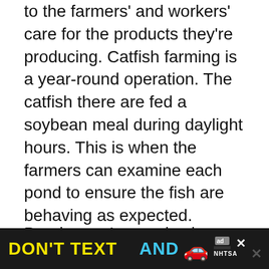to the farmers' and workers' care for the products they're producing. Catfish farming is a year-round operation. The catfish there are fed a soybean meal during daylight hours. This is when the farmers can examine each pond to ensure the fish are behaving as expected. Photosynthesis aerates the ponds during the day. A mechanical aerator takes over at night.
Ponds are 4 acres in size and yield 6,000 fish per acre, though, at times, an acre can yield up to 10,000 fish. This means that at harvest, each pond yields between 24,000 and 40,000 fish. With a target weight for each fish of 2 pounds, each...
[Figure (other): Advertisement banner: 'DON'T TEXT AND' with car emoji and NHTSA logo on dark background]